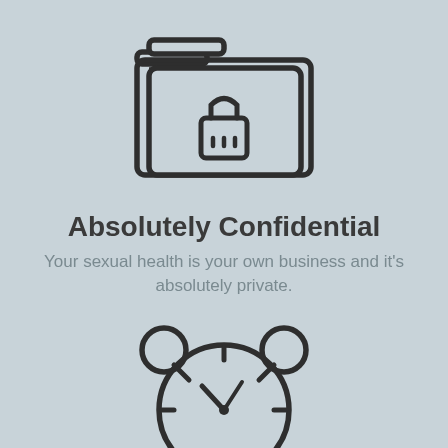[Figure (illustration): Icon of a folder with a padlock, representing confidentiality]
Absolutely Confidential
Your sexual health is your own business and it's absolutely private.
[Figure (illustration): Icon of an alarm clock, partially visible at bottom of page]